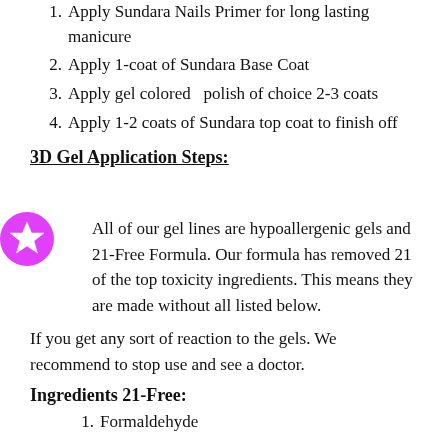1. Apply Sundara Nails Primer for long lasting manicure
2. Apply 1-coat of Sundara Base Coat
3. Apply gel colored  polish of choice 2-3 coats
4. Apply 1-2 coats of Sundara top coat to finish off
3D Gel Application Steps:
All of our gel lines are hypoallergenic gels and 21-Free Formula. Our formula has removed 21 of the top toxicity ingredients. This means they are made without all listed below.
If you get any sort of reaction to the gels. We recommend to stop use and see a doctor.
Ingredients 21-Free:
1. Formaldehyde